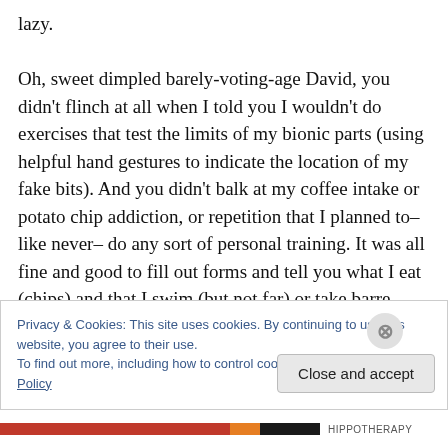lazy.

Oh, sweet dimpled barely-voting-age David, you didn't flinch at all when I told you I wouldn't do exercises that test the limits of my bionic parts (using helpful hand gestures to indicate the location of my fake bits). And you didn't balk at my coffee intake or potato chip addiction, or repetition that I planned to– like never– do any sort of personal training. It was all fine and good to fill out forms and tell you what I eat (chips) and that I swim (but not far) or take barre classes (but not often) and wear a step counting
Privacy & Cookies: This site uses cookies. By continuing to use this website, you agree to their use.
To find out more, including how to control cookies, see here: Cookie Policy
Close and accept